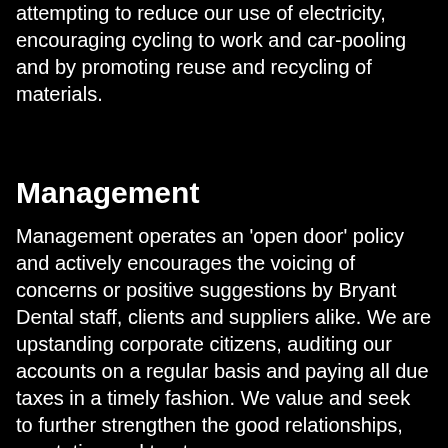attempting to reduce our use of electricity, encouraging cycling to work and car-pooling and by promoting reuse and recycling of materials.
Management
Management operates an 'open door' policy and actively encourages the voicing of concerns or positive suggestions by Bryant Dental staff, clients and suppliers alike. We are upstanding corporate citizens, auditing our accounts on a regular basis and paying all due taxes in a timely fashion. We value and seek to further strengthen the good relationships, reputation and trust